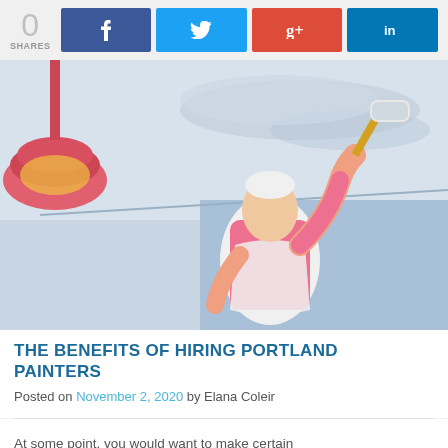[Figure (infographic): Social sharing bar with 0 SHARES counter and four social media buttons: Facebook (blue), Twitter (light blue), Google+ (red), LinkedIn (blue)]
[Figure (photo): A man in a pink shirt and white overalls painting a ceiling with a paint roller. A red pendant lamp is visible on the left side.]
THE BENEFITS OF HIRING PORTLAND PAINTERS
Posted on November 2, 2020 by Elana Coleir
At some point, you would want to make certain